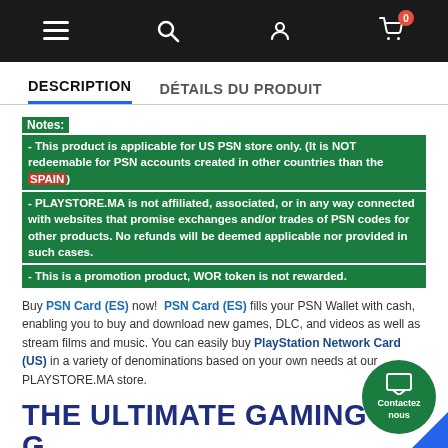Navigation bar with hamburger menu, search, user, and cart (0) icons
DESCRIPTION | DÉTAILS DU PRODUIT
Notes: - This product is applicable for US PSN store only. (It is NOT redeemable for PSN accounts created in other countries than the SPAIN) - PLAYSTORE.MA is not affiliated, associated, or in any way connected with websites that promise exchanges and/or trades of PSN codes for other products. No refunds will be deemed applicable nor provided in such cases. - This is a promotion product, WOR token is not rewarded.
Buy PSN Card (ES) now! PSN Card (ES) fills your PSN Wallet with cash, enabling you to buy and download new games, DLC, and videos as well as stream films and music. You can easily buy PlayStation Network Card (US) in a variety of denominations based on your own needs at our PLAYSTORE.MA store.
THE ULTIMATE GAMING GIFT CARD